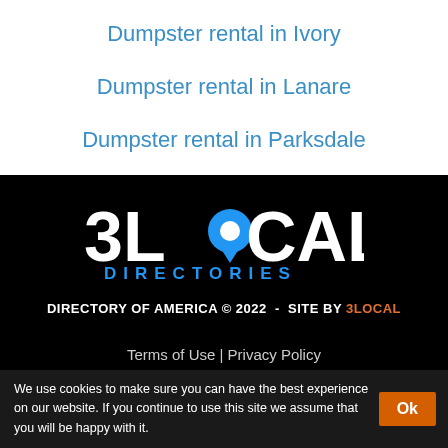Dumpster rental in Ivory
Dumpster rental in Lanare
Dumpster rental in Parksdale
[Figure (logo): 3LOCAL DIRECTORIES logo — bold white '3LOCAL' text with a blue map pin replacing the 'O', and 'DIRECTORIES' in blue/white spaced capital letters below]
DIRECTORY OF AMERICA © 2022  -  SITE BY 3LOCAL
Terms of Use | Privacy Policy
We use cookies to make sure you can have the best experience on our website. If you continue to use this site we assume that you will be happy with it.